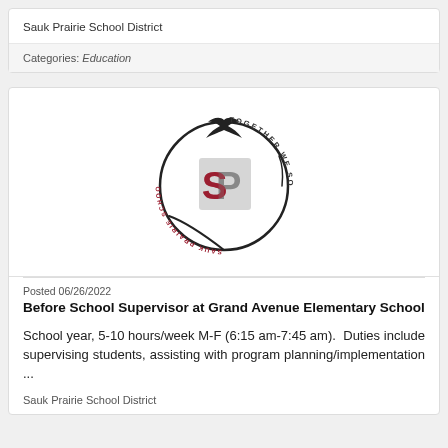Sauk Prairie School District
Categories: Education
[Figure (logo): Sauk Prairie School District circular logo with SP monogram in red and gray, bird silhouette on top, text reading TOGETHER WE SOAR and SAUK PRAIRIE SCHOOL DISTRICT around the circle]
Posted 06/26/2022
Before School Supervisor at Grand Avenue Elementary School
School year, 5-10 hours/week M-F (6:15 am-7:45 am).  Duties include supervising students, assisting with program planning/implementation ...
Sauk Prairie School District